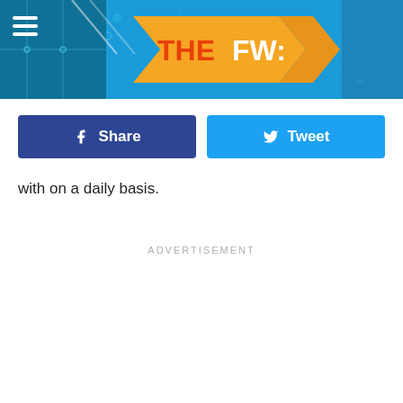[Figure (screenshot): TheFW website header banner with blue circuit board background, hamburger menu icon on left, and orange arrow logo with 'THE FW:' text in center]
[Figure (screenshot): Facebook Share button (dark blue) and Twitter Tweet button (light blue) side by side]
with on a daily basis.
ADVERTISEMENT